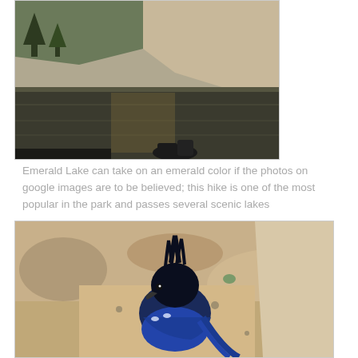[Figure (photo): Photo of Emerald Lake with dark still water reflecting rocky mountain slopes and scattered trees. A backpack or gear sits at the water's edge in the foreground.]
Emerald Lake can take on an emerald color if the photos on google images are to be believed; this hike is one of the most popular in the park and passes several scenic lakes
[Figure (photo): Close-up photo of a Steller's Jay bird standing on rocky ground. The bird has a dark blue and black plumage with a distinctive crest, photographed from above.]